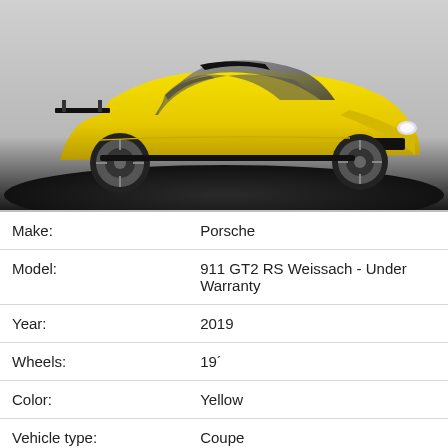[Figure (photo): Yellow Porsche 911 GT2 RS Weissach sports car photographed on a dark circular platform against a light grey background, three-quarter front view.]
| Make: | Porsche |
| Model: | 911 GT2 RS Weissach - Under Warranty |
| Year: | 2019 |
| Wheels: | 19´ |
| Color: | Yellow |
| Vehicle type: | Coupe |
| Kilometers: | 750 |
| Fuel type: | Combustion |